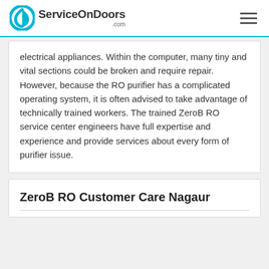ServiceOnDoors.com
electrical appliances. Within the computer, many tiny and vital sections could be broken and require repair. However, because the RO purifier has a complicated operating system, it is often advised to take advantage of technically trained workers. The trained ZeroB RO service center engineers have full expertise and experience and provide services about every form of purifier issue.
ZeroB RO Customer Care Nagaur